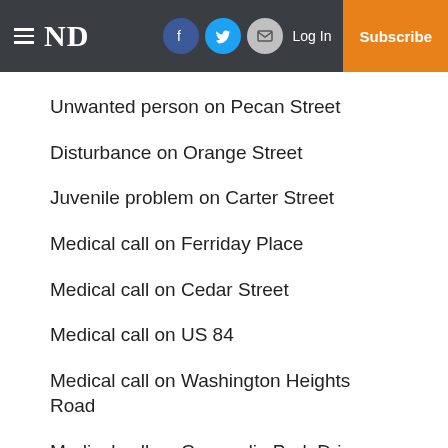ND — Log In — Subscribe
Unwanted person on Pecan Street
Disturbance on Orange Street
Juvenile problem on Carter Street
Medical call on Ferriday Place
Medical call on Cedar Street
Medical call on US 84
Medical call on Washington Heights Road
Medical call on Concordia Park Drive